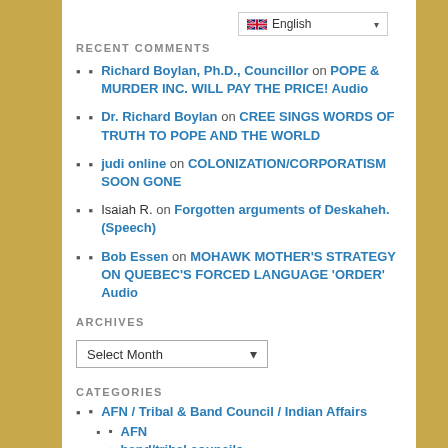RECENT COMMENTS
Richard Boylan, Ph.D., Councillor on POPE & MURDER INC. WILL PAY THE PRICE! Audio
Dr. Richard Boylan on CREE SINGS WORDS OF TRUTH TO POPE AND THE WORLD
judi online on COLONIZATION/CORPORATISM SOON GONE
Isaiah R. on Forgotten arguments of Deskaheh. (Speech)
Bob Essen on MOHAWK MOTHER'S STRATEGY ON QUEBEC'S FORCED LANGUAGE 'ORDER' Audio
ARCHIVES
Select Month
CATEGORIES
AFN / Tribal & Band Council / Indian Affairs
AFN
band/tribal councils
INDIAN AFFAIRS